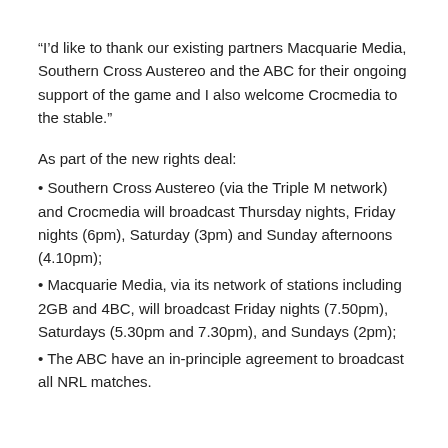“I’d like to thank our existing partners Macquarie Media, Southern Cross Austereo and the ABC for their ongoing support of the game and I also welcome Crocmedia to the stable.”
As part of the new rights deal:
• Southern Cross Austereo (via the Triple M network) and Crocmedia will broadcast Thursday nights, Friday nights (6pm), Saturday (3pm) and Sunday afternoons (4.10pm);
• Macquarie Media, via its network of stations including 2GB and 4BC, will broadcast Friday nights (7.50pm), Saturdays (5.30pm and 7.30pm), and Sundays (2pm);
• The ABC have an in-principle agreement to broadcast all NRL matches.